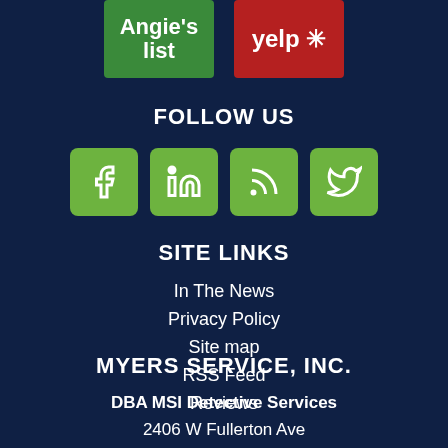[Figure (logo): Angie's List green logo and Yelp red logo side by side at the top]
FOLLOW US
[Figure (infographic): Four green social media icon buttons: Facebook, LinkedIn, RSS, Twitter]
SITE LINKS
In The News
Privacy Policy
Site map
RSS Feed
Reviews
MYERS SERVICE, INC.
DBA MSI Detective Services
2406 W Fullerton Ave